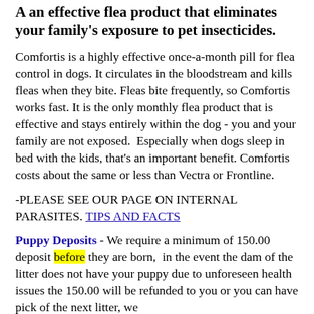A an effective flea product that eliminates your family's exposure to pet insecticides.
Comfortis is a highly effective once-a-month pill for flea control in dogs. It circulates in the bloodstream and kills fleas when they bite. Fleas bite frequently, so Comfortis works fast. It is the only monthly flea product that is effective and stays entirely within the dog - you and your family are not exposed.  Especially when dogs sleep in bed with the kids, that's an important benefit. Comfortis costs about the same or less than Vectra or Frontline.
-PLEASE SEE OUR PAGE ON INTERNAL PARASITES. TIPS AND FACTS
Puppy Deposits - We require a minimum of 150.00 deposit before they are born,  in the event the dam of the litter does not have your puppy due to unforeseen health issues the 150.00 will be refunded to you or you can have pick of the next litter, we